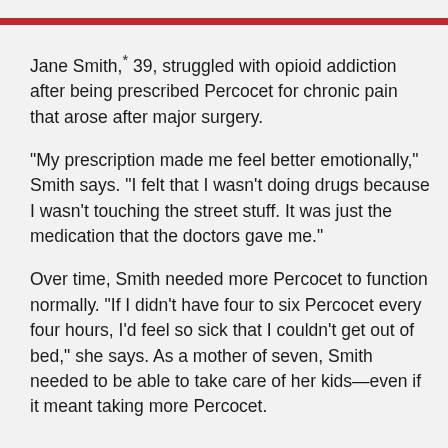Jane Smith,* 39, struggled with opioid addiction after being prescribed Percocet for chronic pain that arose after major surgery.
"My prescription made me feel better emotionally," Smith says. "I felt that I wasn't doing drugs because I wasn't touching the street stuff. It was just the medication that the doctors gave me."
Over time, Smith needed more Percocet to function normally. "If I didn't have four to six Percocet every four hours, I'd feel so sick that I couldn't get out of bed," she says. As a mother of seven, Smith needed to be able to take care of her kids—even if it meant taking more Percocet.